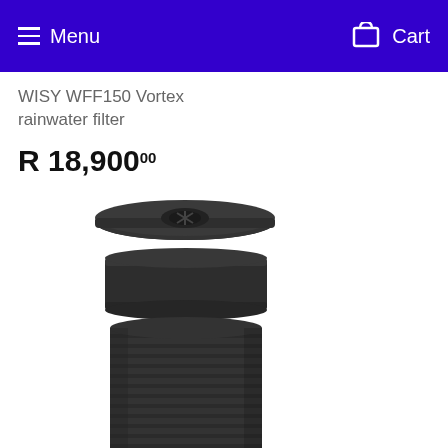Menu  Cart
WISY WFF150 Vortex rainwater filter
R 18,900.00
[Figure (photo): Product photo of WISY WFF150 Vortex rainwater filter — a black cylindrical assembly shown disassembled with a circular lid/screen on top, a short cylindrical collar in the middle, and a ribbed cylindrical body at the bottom]